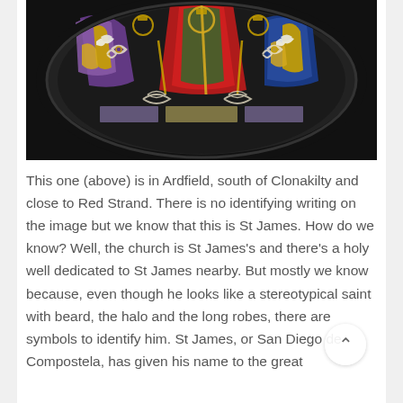[Figure (photo): Stained glass window depicting St James and other religious figures with colorful robes and Celtic decorative elements, photographed in a circular rose window format with dark surround.]
This one (above) is in Ardfield, south of Clonakilty and close to Red Strand. There is no identifying writing on the image but we know that this is St James. How do we know? Well, the church is St James's and there's a holy well dedicated to St James nearby. But mostly we know because, even though he looks like a stereotypical saint with beard, the halo and the long robes, there are symbols to identify him. St James, or San Diego de Compostela, has given his name to the great